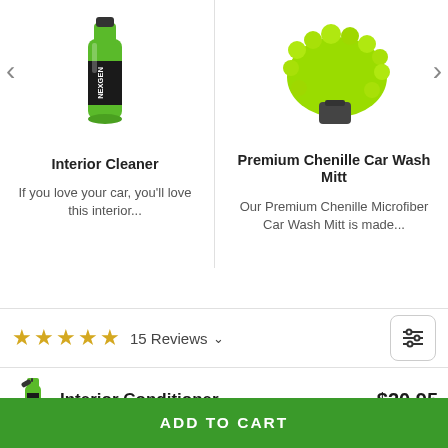[Figure (photo): NexGen Interior Cleaner bottle - green bottle with black label]
[Figure (photo): Premium Chenille Car Wash Mitt - bright green microfiber mitt]
Interior Cleaner
If you love your car, you'll love this interior...
Premium Chenille Car Wash Mitt
Our Premium Chenille Microfiber Car Wash Mitt is made...
15 Reviews
Interior Conditioner
$20.95
ADD TO CART